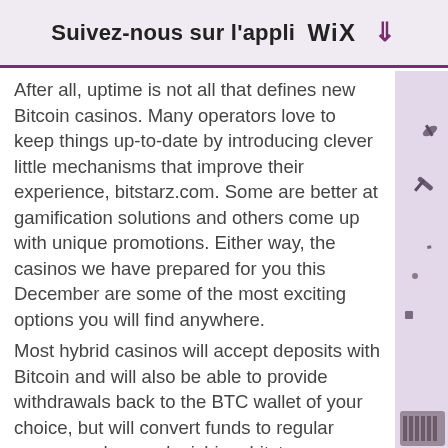Suivez-nous sur l'appli WiX ↓
After all, uptime is not all that defines new Bitcoin casinos. Many operators love to keep things up-to-date by introducing clever little mechanisms that improve their experience, bitstarz.com. Some are better at gamification solutions and others come up with unique promotions. Either way, the casinos we have prepared for you this December are some of the most exciting options you will find anywhere.
Most hybrid casinos will accept deposits with Bitcoin and will also be able to provide withdrawals back to the BTC wallet of your choice, but will convert funds to regular currency when replenishing, bitstarz.com. We also arrange exclusive signup bonuses that you can't get by going direct to the casino, so if you sign up through us you get bigger bonuses and more free spins, bitstarz.com. You can start by reading some